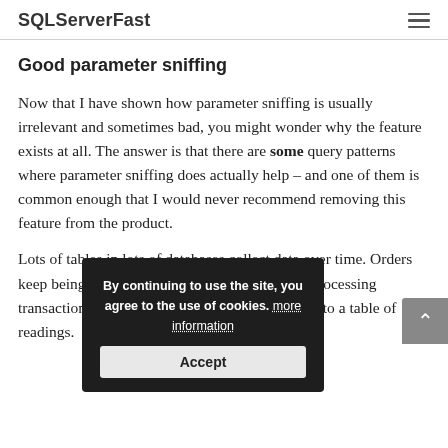SQLServerFast
Good parameter sniffing
Now that I have shown how parameter sniffing is usually irrelevant and sometimes bad, you might wonder why the feature exists at all. The answer is that there are some query patterns where parameter sniffing does actually help – and one of them is common enough that I would never recommend removing this feature from the product.
Lots of tables in lots of databases collect data over time. Orders keep being added to sales systems, banks keep processing transactions, and sensor data continues to poor into a table of readings.
By continuing to use the site, you agree to the use of cookies. more information
Accept